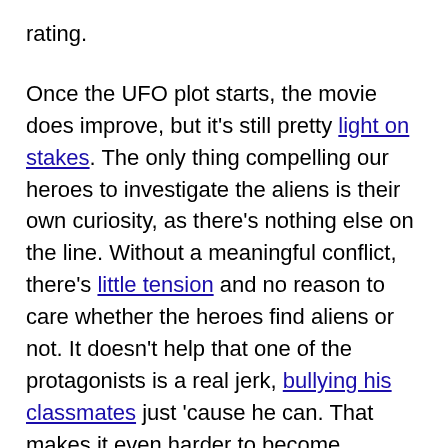rating.
Once the UFO plot starts, the movie does improve, but it's still pretty light on stakes. The only thing compelling our heroes to investigate the aliens is their own curiosity, as there's nothing else on the line. Without a meaningful conflict, there's little tension and no reason to care whether the heroes find aliens or not. It doesn't help that one of the protagonists is a real jerk, bullying his classmates just 'cause he can. That makes it even harder to become invested in his story.
Besides the poor pacing, the film is also very confusing at certain points. In the beginning, characters talk so fast that it's difficult to